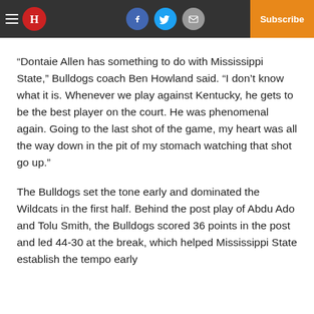H [logo] | Facebook | Twitter | Email | Log In | Subscribe
“Dontaie Allen has something to do with Mississippi State,” Bulldogs coach Ben Howland said. “I don’t know what it is. Whenever we play against Kentucky, he gets to be the best player on the court. He was phenomenal again. Going to the last shot of the game, my heart was all the way down in the pit of my stomach watching that shot go up.”
The Bulldogs set the tone early and dominated the Wildcats in the first half. Behind the post play of Abdu Ado and Tolu Smith, the Bulldogs scored 36 points in the post and led 44-30 at the break, which helped Mississippi State establish the tempo early